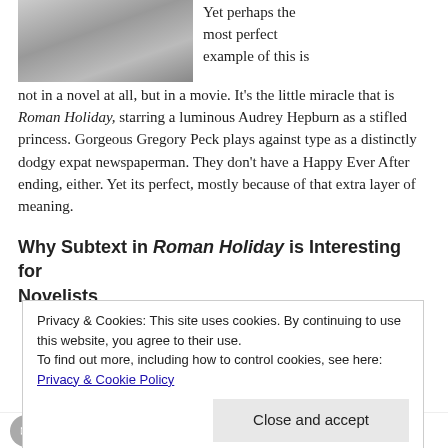[Figure (photo): Black and white photograph of a person, cropped at top, partial view]
Yet perhaps the most perfect example of this is not in a novel at all, but in a movie. It's the little miracle that is Roman Holiday, starring a luminous Audrey Hepburn as a stifled princess. Gorgeous Gregory Peck plays against type as a distinctly dodgy expat newspaperman. They don't have a Happy Ever After ending, either. Yet its perfect, mostly because of that extra layer of meaning.
Why Subtext in Roman Holiday is Interesting for Novelists
Privacy & Cookies: This site uses cookies. By continuing to use this website, you agree to their use.
To find out more, including how to control cookies, see here: Privacy & Cookie Policy
[Figure (other): Social sharing icons bar at bottom: email, Twitter, Facebook, Pinterest, Tumblr, WhatsApp, LinkedIn, and others]